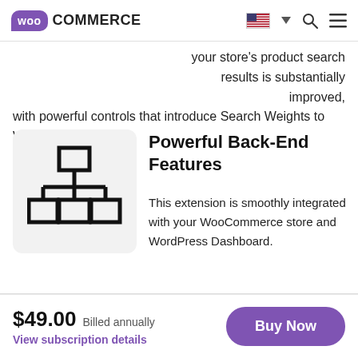WooCommerce
your store's product search results is substantially improved, with powerful controls that introduce Search Weights to WooCommerce.
[Figure (illustration): Hierarchy/network diagram icon showing a tree structure with rectangles connected by lines, on a light gray rounded background]
Powerful Back-End Features
This extension is smoothly integrated with your WooCommerce store and WordPress Dashboard.
$49.00 Billed annually View subscription details Buy Now